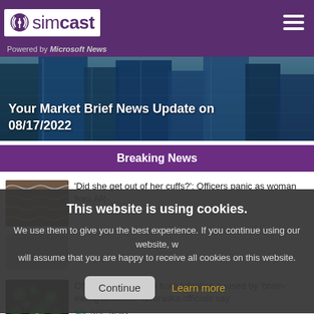simcast — Powered by Microsoft News
[Figure (photo): Aerial view of city skyscrapers with blue glass facades]
Your Market Brief News Update on 08/17/2022
Breaking News
'Did she get out of her cuffs?': Officers panic as woman fires AR-
This website is using cookies. We use them to give you the best experience. If you continue using our website, we will assume that you are happy to receive all cookies on this website.
Continue
Learn more
Child may have died from infection caused by 'brain-eating amoeba,' Nebraska officials say
NBC News